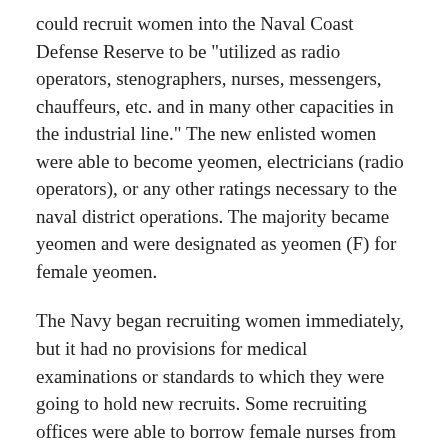could recruit women into the Naval Coast Defense Reserve to be "utilized as radio operators, stenographers, nurses, messengers, chauffeurs, etc. and in many other capacities in the industrial line." The new enlisted women were able to become yeomen, electricians (radio operators), or any other ratings necessary to the naval district operations. The majority became yeomen and were designated as yeomen (F) for female yeomen.
The Navy began recruiting women immediately, but it had no provisions for medical examinations or standards to which they were going to hold new recruits. Some recruiting offices were able to borrow female nurses from nearby naval hospitals to conduct the examinations.
At the beginning, it was assumed the yeomen would perform only administrative duties, so the majority of the tests focused on office skills. In spite of the confining categories the Navy placed upon the yeomen (F), the women also worked as mechanics, truck drivers, cryptographers, telephone operators, and munitions makers.